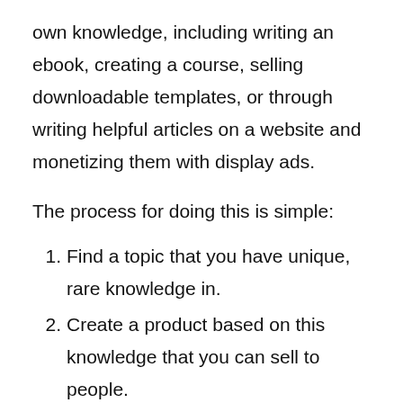own knowledge, including writing an ebook, creating a course, selling downloadable templates, or through writing helpful articles on a website and monetizing them with display ads.
The process for doing this is simple:
Find a topic that you have unique, rare knowledge in.
Create a product based on this knowledge that you can sell to people.
I've come across thousands of people online who are all earning income from their unique